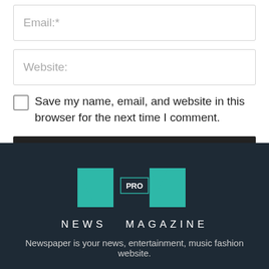[Figure (screenshot): Email input field with placeholder text 'Email:*']
[Figure (screenshot): Website input field with placeholder text 'Website:']
Save my name, email, and website in this browser for the next time I comment.
[Figure (other): POST COMMENT button, dark background, white bold uppercase text]
[Figure (logo): NM PRO News Magazine logo in teal on dark background]
Newspaper is your news, entertainment, music fashion website.